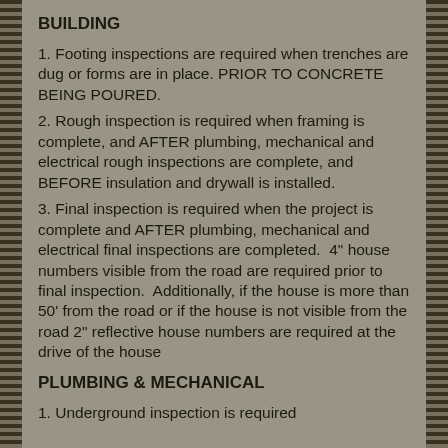BUILDING
1. Footing inspections are required when trenches are dug or forms are in place. PRIOR TO CONCRETE BEING POURED.
2. Rough inspection is required when framing is complete, and AFTER plumbing, mechanical and electrical rough inspections are complete, and BEFORE insulation and drywall is installed.
3. Final inspection is required when the project is complete and AFTER plumbing, mechanical and electrical final inspections are completed.  4" house numbers visible from the road are required prior to final inspection.  Additionally, if the house is more than 50' from the road or if the house is not visible from the road 2" reflective house numbers are required at the drive of the house
PLUMBING & MECHANICAL
1. Underground inspection is required